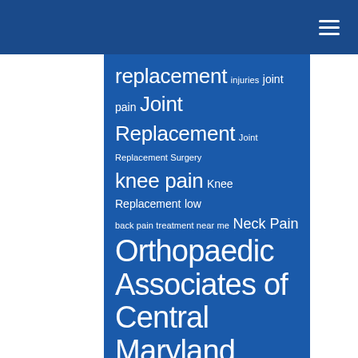Navigation bar with hamburger menu icon
replacement injuries joint pain Joint Replacement Joint Replacement Surgery knee pain Knee Replacement low back pain treatment near me Neck Pain Orthopaedic Associates of Central Maryland Orthopaedic Surgeon orthopedic care near me orthopedic clinic near me Orthopedic Doctor near me orthopedic doctors orthopedics orthopedic surgeon